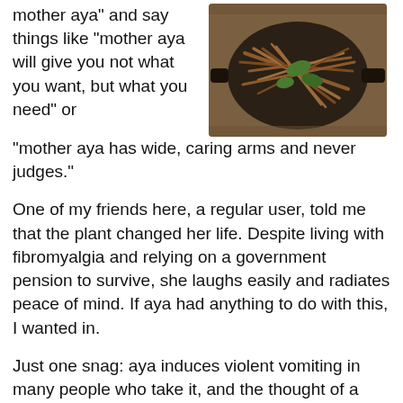mother aya" and say things like "mother aya will give you not what you want, but what you need" or "mother aya has wide, caring arms and never judges."
[Figure (photo): A cast iron pot or pan viewed from above, filled with ayahuasca vine and leaves on a forest floor background.]
One of my friends here, a regular user, told me that the plant changed her life. Despite living with fibromyalgia and relying on a government pension to survive, she laughs easily and radiates peace of mind. If aya had anything to do with this, I wanted in.
Just one snag: aya induces violent vomiting in many people who take it, and the thought of a group retching session put my hypertrophied sense of revulsion in overdrive. On the other hand, I was here in Floripa to live large, so when my friend invited me to an ayahuasca ceremony, I clutched my stomach